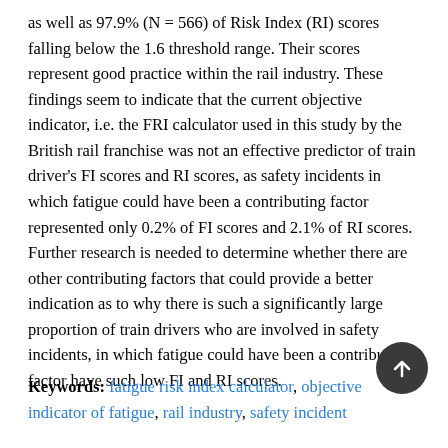as well as 97.9% (N = 566) of Risk Index (RI) scores falling below the 1.6 threshold range. Their scores represent good practice within the rail industry. These findings seem to indicate that the current objective indicator, i.e. the FRI calculator used in this study by the British rail franchise was not an effective predictor of train driver's FI scores and RI scores, as safety incidents in which fatigue could have been a contributing factor represented only 0.2% of FI scores and 2.1% of RI scores. Further research is needed to determine whether there are other contributing factors that could provide a better indication as to why there is such a significantly large proportion of train drivers who are involved in safety incidents, in which fatigue could have been a contributing factor have such low FI and RI scores.
Keywords: fatigue risk index calculator, objective indicator of fatigue, rail industry, safety incident